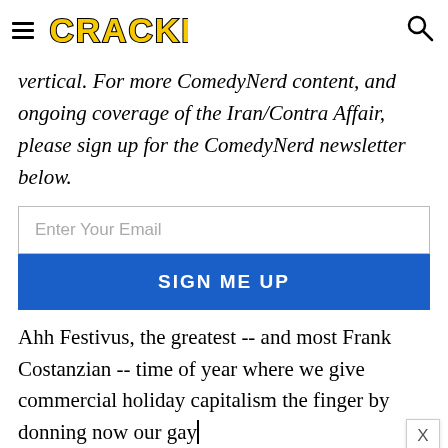CRACKED
vertical. For more ComedyNerd content, and ongoing coverage of the Iran/Contra Affair, please sign up for the ComedyNerd newsletter below.
Enter Your Email
SIGN ME UP
Ahh Festivus, the greatest -- and most Frank Costanzian -- time of year where we give commercial holiday capitalism the finger by donning now our gay